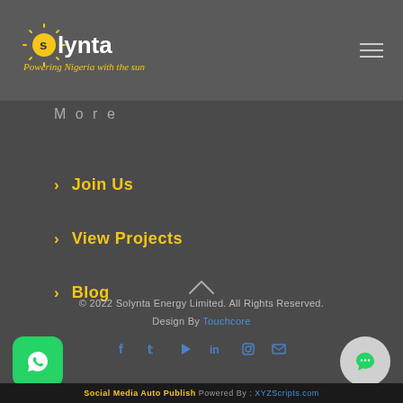Solynta — Powering Nigeria with the sun
More
Join Us
View Projects
Blog
© 2022 Solynta Energy Limited. All Rights Reserved. Design By Touchcore
Social Media Auto Publish Powered By : XYZScripts.com